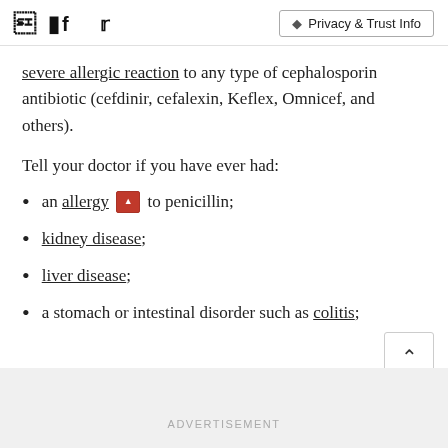Facebook Twitter | Privacy & Trust Info
severe allergic reaction to any type of cephalosporin antibiotic (cefdinir, cefalexin, Keflex, Omnicef, and others).
Tell your doctor if you have ever had:
an allergy [image] to penicillin;
kidney disease;
liver disease;
a stomach or intestinal disorder such as colitis;
ADVERTISEMENT